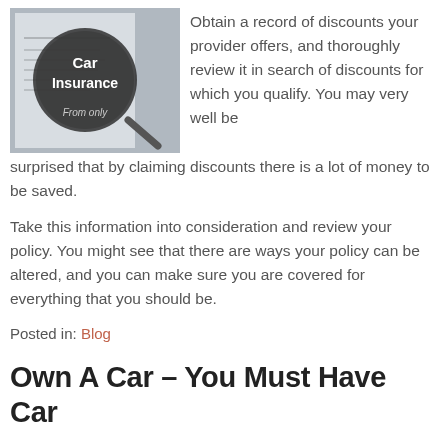[Figure (photo): Car Insurance document with magnifying glass showing 'Car Insurance' text and 'From only' text visible at bottom]
Obtain a record of discounts your provider offers, and thoroughly review it in search of discounts for which you qualify. You may very well be surprised that by claiming discounts there is a lot of money to be saved.
Take this information into consideration and review your policy. You might see that there are ways your policy can be altered, and you can make sure you are covered for everything that you should be.
Posted in: Blog
Own A Car – You Must Have Car